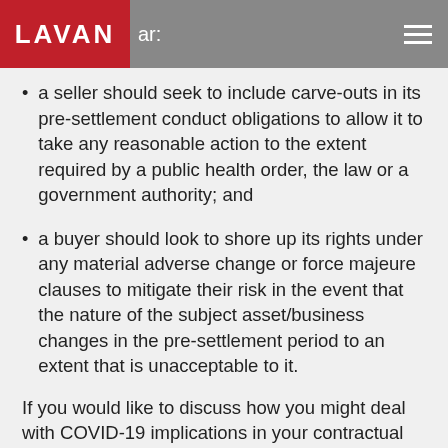LAVAN  ar:
a seller should seek to include carve-outs in its pre-settlement conduct obligations to allow it to take any reasonable action to the extent required by a public health order, the law or a government authority; and
a buyer should look to shore up its rights under any material adverse change or force majeure clauses to mitigate their risk in the event that the nature of the subject asset/business changes in the pre-settlement period to an extent that is unacceptable to it.
If you would like to discuss how you might deal with COVID-19 implications in your contractual arrangements, please do not hesitate to contact